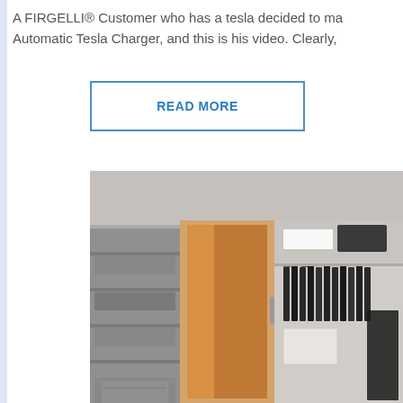A FIRGELLI® Customer who has a tesla decided to ma... Automatic Tesla Charger, and this is his video. Clearly,
READ MORE
[Figure (photo): Photo of an open walk-in closet showing shelving units, hanging clothes in dark colors, a door with orange/brown interior lighting, storage boxes, and clothing rods.]